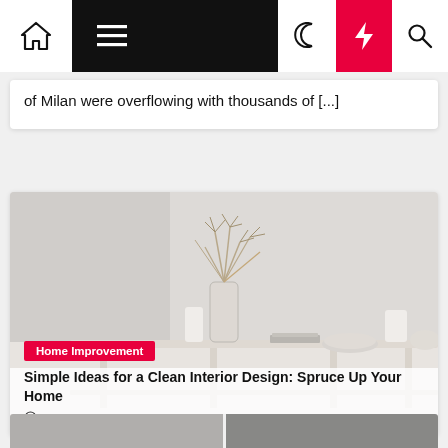Navigation bar with home, menu, dark mode, bolt, and search icons
of Milan were overflowing with thousands of [...]
[Figure (photo): Minimalist interior scene with a light wooden console table, a glass vase with a dried plant arrangement, white ceramic objects, a small book, and a round white smart speaker on a light grey background]
Home Improvement
Simple Ideas for a Clean Interior Design: Spruce Up Your Home
3 months ago